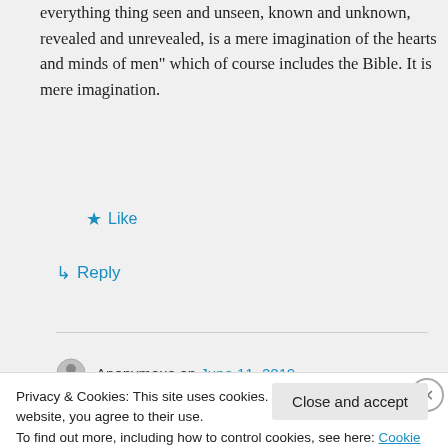everything thing seen and unseen, known and unknown, revealed and unrevealed, is a mere imagination of the hearts and minds of men" which of course includes the Bible. It is mere imagination.
★ Like
↳ Reply
Anonymous on June 11, 2019
Privacy & Cookies: This site uses cookies. By continuing to use this website, you agree to their use.
To find out more, including how to control cookies, see here: Cookie Policy
Close and accept